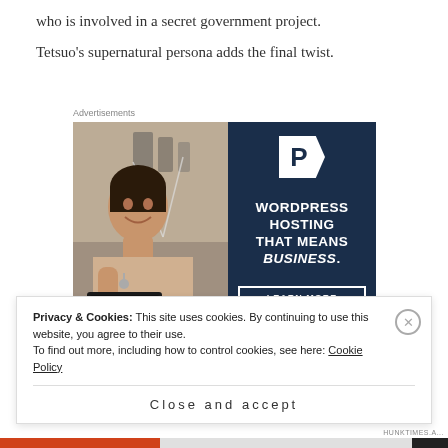who is involved in a secret government project.
Tetsuo's supernatural persona adds the final twist.
Advertisements
[Figure (photo): Advertisement for WordPress Hosting featuring a woman holding an OPEN sign in a shop, with text: WORDPRESS HOSTING THAT MEANS BUSINESS.]
Privacy & Cookies: This site uses cookies. By continuing to use this website, you agree to their use.
To find out more, including how to control cookies, see here: Cookie Policy
Close and accept